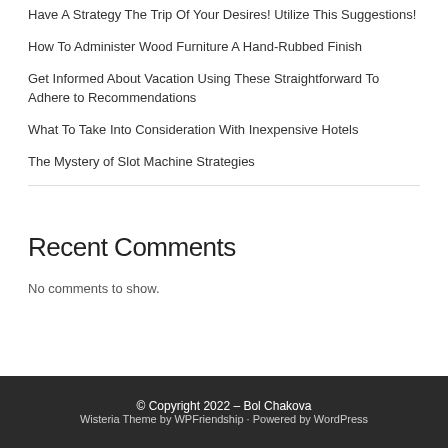Have A Strategy The Trip Of Your Desires! Utilize This Suggestions!
How To Administer Wood Furniture A Hand-Rubbed Finish
Get Informed About Vacation Using These Straightforward To Adhere to Recommendations
What To Take Into Consideration With Inexpensive Hotels
The Mystery of Slot Machine Strategies
Recent Comments
No comments to show.
© Copyright 2022 – Bol Chakova
Wisteria Theme by WPFriendship · Powered by WordPress